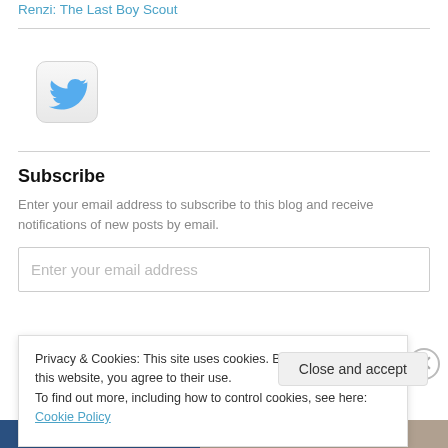Renzi: The Last Boy Scout
[Figure (logo): Twitter bird logo button with rounded square border]
Subscribe
Enter your email address to subscribe to this blog and receive notifications of new posts by email.
Enter your email address
Privacy & Cookies: This site uses cookies. By continuing to use this website, you agree to their use.
To find out more, including how to control cookies, see here: Cookie Policy
Close and accept